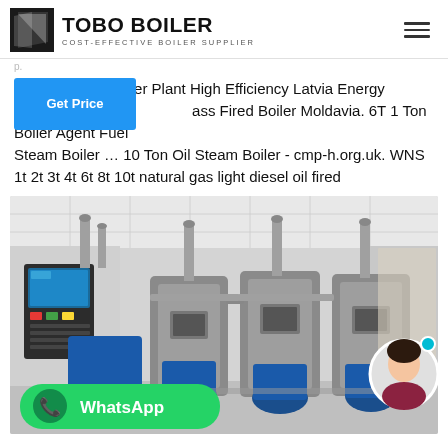TOBO BOILER — COST-EFFECTIVE BOILER SUPPLIER
Agent 2t Coal Boiler Plant High Efficiency Latvia Energy Saving ass Fired Boiler Moldavia. 6T 1 Ton Boiler Agent Fuel Steam Boiler … 10 Ton Oil Steam Boiler - cmp-h.org.uk. WNS 1t 2t 3t 4t 6t 8t 10t natural gas light diesel oil fired
[Figure (photo): Industrial boiler room with multiple gas/oil steam boiler units (blue and grey), pipes, and control panel on the left wall. WhatsApp badge overlay at bottom left. Female avatar bubble at bottom right.]